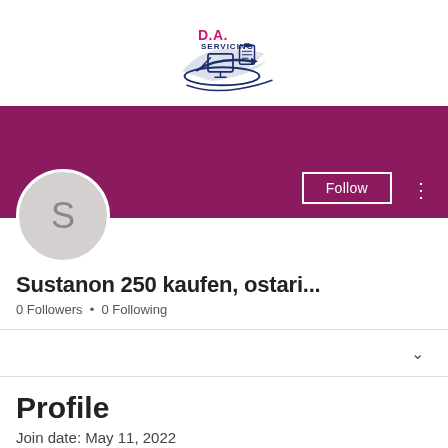[Figure (logo): D.A. Servicing logo with a ship wheel/anchor graphic in navy blue, 'D.A.' in pink/magenta and 'SERVICING' in navy blue text]
[Figure (screenshot): Purple/magenta banner with Follow button and more options (...) button, and a gray circle avatar with letter S]
Sustanon 250 kaufen, ostari...
0 Followers • 0 Following
Profile
Join date: May 11, 2022